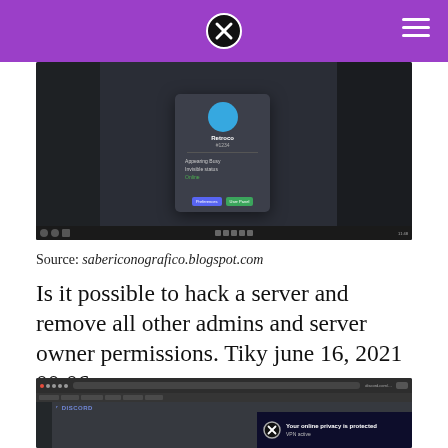[Figure (screenshot): Discord application screenshot showing a user popup/profile card with options including Message, Add Note, Add Friend, and game activity.]
Source: sabericonografico.blogspot.com
Is it possible to hack a server and remove all other admins and server owner permissions. Tiky june 16, 2021 00:06;
[Figure (screenshot): Browser screenshot showing Discord website in Opera browser with a privacy VPN popup saying 'Your online privacy is protected']